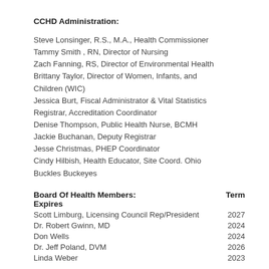CCHD Administration:
Steve Lonsinger, R.S., M.A., Health Commissioner
Tammy Smith , RN, Director of Nursing
Zach Fanning, RS, Director of Environmental Health
Brittany Taylor, Director of Women, Infants, and Children (WIC)
Jessica Burt, Fiscal Administrator & Vital Statistics Registrar, Accreditation Coordinator
Denise Thompson, Public Health Nurse, BCMH
Jackie Buchanan, Deputy Registrar
Jesse Christmas, PHEP Coordinator
Cindy Hilbish, Health Educator, Site Coord. Ohio Buckles Buckeyes
Board Of Health Members:    Term Expires
| Member | Term |
| --- | --- |
| Scott Limburg, Licensing Council Rep/President | 2027 |
| Dr. Robert Gwinn, MD | 2024 |
| Don Wells | 2024 |
| Dr. Jeff Poland, DVM | 2026 |
| Linda Weber | 2023 |